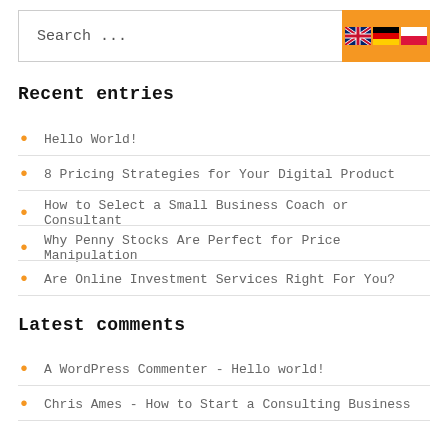Search ...
Recent entries
Hello World!
8 Pricing Strategies for Your Digital Product
How to Select a Small Business Coach or Consultant
Why Penny Stocks Are Perfect for Price Manipulation
Are Online Investment Services Right For You?
Latest comments
A WordPress Commenter - Hello world!
Chris Ames - How to Start a Consulting Business